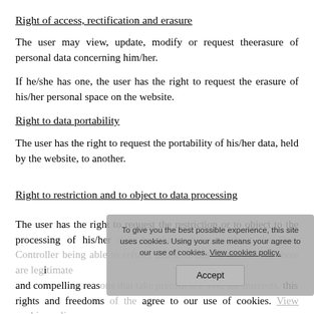Right of access, rectification and erasure
The user may view, update, modify or request theerasure of personal data concerning him/her.
If he/she has one, the user has the right to request the erasure of his/her personal space on the website.
Right to data portability
The user has the right to request the portability of his/her data, held by the website, to another.
Right to restriction and to object to data processing
The user has the right to request the restriction or to object to the processing of his/her data by the website, without the Data Controller being able to refuse, unless it can be shown that there are legitimate and compelling reasons that take precedence over the interests, rights and freedoms of the data subject.
For any information concerning his rights, or to exercise them, the